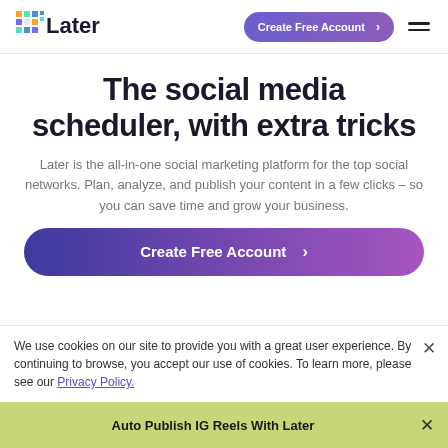[Figure (logo): Later logo with colorful pixel grid icon and 'Later' wordmark]
Create Free Account >
The social media scheduler, with extra tricks
Later is the all-in-one social marketing platform for the top social networks. Plan, analyze, and publish your content in a few clicks – so you can save time and grow your business.
Create Free Account >
We use cookies on our site to provide you with a great user experience. By continuing to browse, you accept our use of cookies. To learn more, please see our Privacy Policy.
Auto Publish IG Reels With Later